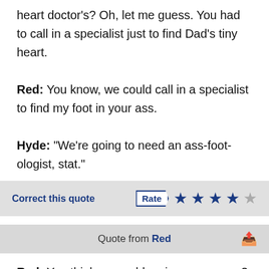heart doctor's? Oh, let me guess. You had to call in a specialist just to find Dad's tiny heart.
Red: You know, we could call in a specialist to find my foot in your ass.
Hyde: "We're going to need an ass-foot-ologist, stat."
Correct this quote  Rate ★★★★☆
Quote from Red
Red: You think my problem is my own son? My son is a fine young man.